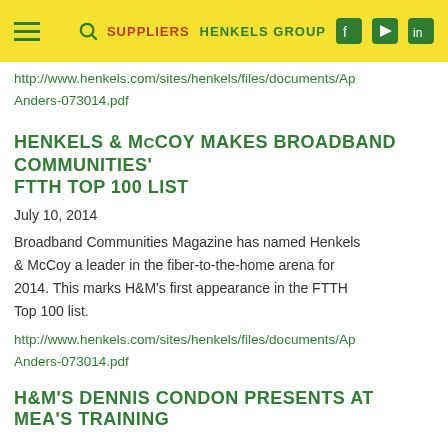SUPPLIERS  HENKELS GROUP
http://www.henkels.com/sites/henkels/files/documents/Ap
Anders-073014.pdf
HENKELS & McCOY MAKES BROADBAND COMMUNITIES' FTTH TOP 100 LIST
July 10, 2014
Broadband Communities Magazine has named Henkels & McCoy a leader in the fiber-to-the-home arena for 2014. This marks H&M's first appearance in the FTTH Top 100 list.
http://www.henkels.com/sites/henkels/files/documents/Ap
Anders-073014.pdf
H&M'S DENNIS CONDON PRESENTS AT MEA'S TRAINING